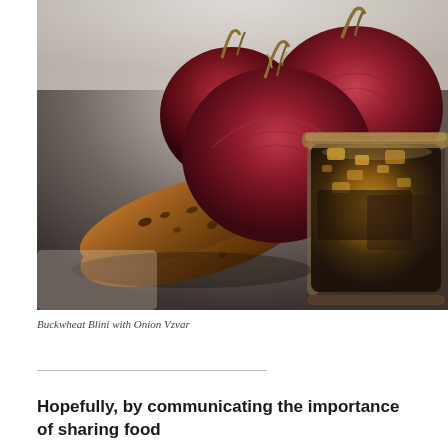[Figure (photo): A food photograph showing red/purple onions and toasted buckwheat blini (bread slices) arranged next to a glass jar filled with dark onion vzvar (jam/preserve). The background is a dark slate surface with a light marble area at top.]
Buckwheat Blini with Onion Vzvar
Hopefully, by communicating the importance of sharing food